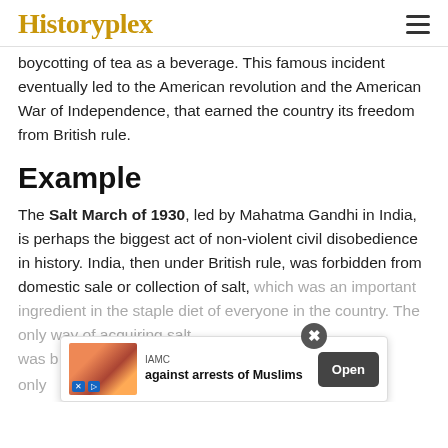Historyplex
boycotting of tea as a beverage. This famous incident eventually led to the American revolution and the American War of Independence, that earned the country its freedom from British rule.
Example
The Salt March of 1930, led by Mahatma Gandhi in India, is perhaps the biggest act of non-violent civil disobedience in history. India, then under British rule, was forbidden from domestic sale or collection of salt, which was an important ingredient in the staple diet of everyone in the country. The only way of acquiring salt was [obscured by ad] not only
[Figure (screenshot): Advertisement overlay at bottom of page: IAMC 'against arrests of Muslims' with Open button]